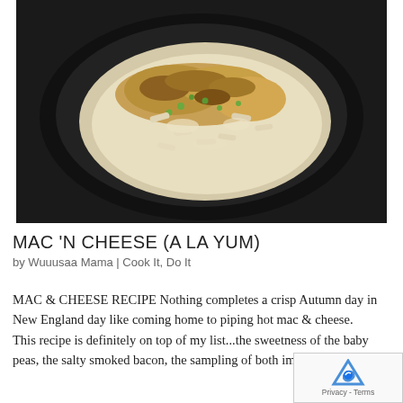[Figure (photo): A dark bowl containing baked mac and cheese with penne pasta, green peas, and a golden breadcrumb topping, served on a black plate.]
MAC 'N CHEESE (A LA YUM)
by Wuuusaa Mama | Cook It, Do It
MAC & CHEESE RECIPE Nothing completes a crisp Autumn day in New England day like coming home to piping hot mac & cheese.  This recipe is definitely on top of my list...the sweetness of the baby peas, the salty smoked bacon, the sampling of both imported